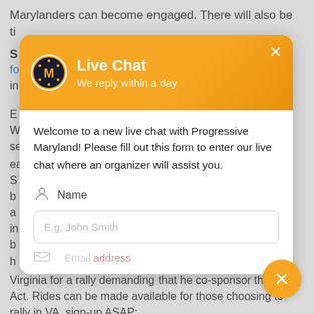Marylanders can become engaged. There will also be ti
S
fo
in
E
W
se
ea
S
b
a
in
b
h
[Figure (screenshot): Live Chat widget popup from Progressive Maryland. Header shows orange gradient background with Progressive Maryland logo (circular badge with M), title 'Live Chat', subtitle 'We reply within a day', and an X close button. Body shows welcome message: 'Welcome to a new live chat with Progressive Maryland! Please fill out this form to enter our live chat where an organizer will assist you.' Below is a Name field with person icon and text input placeholder 'E.g. John Smith'. Below that is a partially visible Email field. The widget sits over a grey-overlaid page background.]
Virginia for a rally demanding that he co-sponsor the PRO Act. Rides can be made available for those choosing to rally in VA, sign-up ASAP:
https://forms.gle/YkEHU1CN7CJBH5URA
Masks required & additional PPE will be available